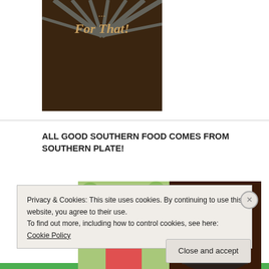[Figure (photo): Partial view of a book or promotional image with cursive text 'For That!' on a dark brown background with light rays]
ALL GOOD SOUTHERN FOOD COMES FROM SOUTHERN PLATE!
[Figure (photo): Promotional banner showing Christy Jordan (blonde woman in pink shirt) and text 'CHRISTY JORDAN' with a cast iron skillet]
Privacy & Cookies: This site uses cookies. By continuing to use this website, you agree to their use.
To find out more, including how to control cookies, see here: Cookie Policy
Close and accept